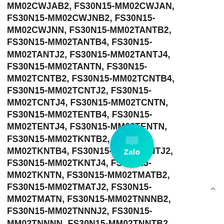MM02CWJAB2, FS30N15-MM02CWJAN, FS30N15-MM02CWJNB2, FS30N15-MM02CWJNN, FS30N15-MM02TANTB2, FS30N15-MM02TANTB4, FS30N15-MM02TANTJ2, FS30N15-MM02TANTJ4, FS30N15-MM02TANTN, FS30N15-MM02TCNTB2, FS30N15-MM02TCNTB4, FS30N15-MM02TCNTJ2, FS30N15-MM02TCNTJ4, FS30N15-MM02TCNTN, FS30N15-MM02TENTB4, FS30N15-MM02TENTJ4, FS30N15-MM02TENTN, FS30N15-MM02TKNTB2, FS30N15-MM02TKNTB4, FS30N15-MM02TKNTJ2, FS30N15-MM02TKNTJ4, FS30N15-MM02TKNTN, FS30N15-MM02TMATB2, FS30N15-MM02TMATJ2, FS30N15-MM02TMATN, FS30N15-MM02TNNNB2, FS30N15-MM02TNNNJ2, FS30N15-MM02TNNNN, FS30N15-MM02TNNTB2, FS30N15-MM02TNNTJ2, FS30N15-MM02TNNTN, FS30N15-MM02TWJNB4, FS30N15-MM02TWJNJ4, FS30N15-MM02TWJNN, FS30N15-MM02TWNTB2, FS30N15-MM02TWNTJ4, FS30N15-MM02TWNTN, FS30N15-WM02TANEN, FS30N15-WM02TANEV2, FS30N15-WM02TANEV4, FS30N15-
[Figure (logo): Zalo app icon badge - circular teal/cyan gradient button with Zalo logo and text]